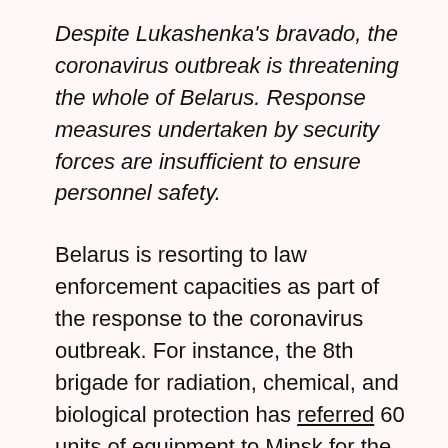Despite Lukashenka's bravado, the coronavirus outbreak is threatening the whole of Belarus. Response measures undertaken by security forces are insufficient to ensure personnel safety.
Belarus is resorting to law enforcement capacities as part of the response to the coronavirus outbreak. For instance, the 8th brigade for radiation, chemical, and biological protection has referred 60 units of equipment to Minsk for the disinfection of healthcare and industrial facilities (including indoor treatment).
Simultaneously, the military authorities have taken some measures to contain the spread of COVID-19 among military personnel, such as deploying medical posts at military checkpoints,